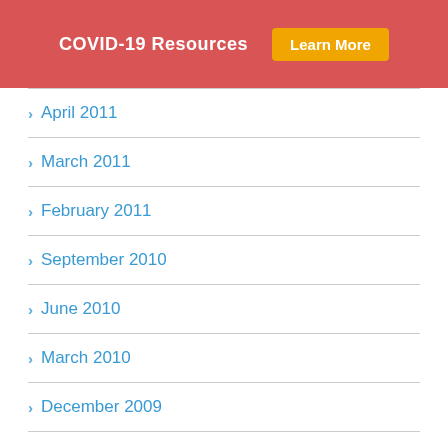COVID-19 Resources  Learn More
April 2011
March 2011
February 2011
September 2010
June 2010
March 2010
December 2009
October 2009